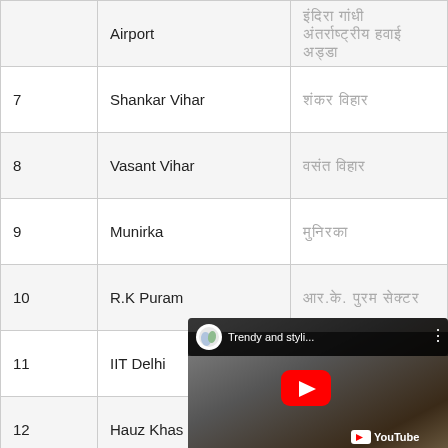| # | Name (English) | Name (Hindi) |
| --- | --- | --- |
|  | Airport | इंदिरा गांधी अंतर्राष्ट्रीय हवाई अड्डा |
| 7 | Shankar Vihar | शंकर विहार |
| 8 | Vasant Vihar | वसंत विहार |
| 9 | Munirka | मुनिरका |
| 10 | R.K Puram | आर.के. पुरम |
| 11 | IIT Delhi | आईआईटी दिल्ली |
| 12 | Hauz Khas | हौज़ खास |
| 13 | Panchsheel | पंचशील |
| 14 | Chirag Delhi | चिराग दिल्ली |
[Figure (screenshot): YouTube video overlay showing 'Trendy and styli...' video with play button and YouTube logo]